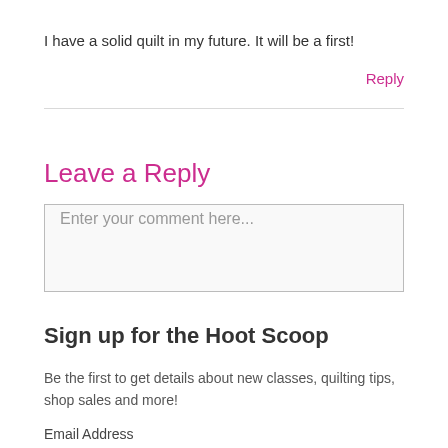I have a solid quilt in my future. It will be a first!
Reply
Leave a Reply
Enter your comment here...
Sign up for the Hoot Scoop
Be the first to get details about new classes, quilting tips, shop sales and more!
Email Address